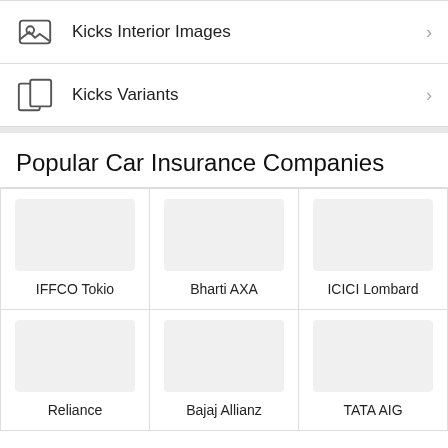Kicks Interior Images
Kicks Variants
Popular Car Insurance Companies
[Figure (other): Grid of car insurance company logos: IFFCO Tokio, Bharti AXA, ICICI Lombard, Reliance, Bajaj Allianz, TATA AIG]